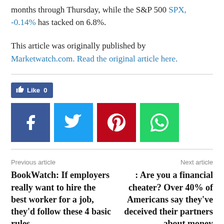months through Thursday, while the S&P 500 SPX, -0.14% has tacked on 6.8%.
This article was originally published by Marketwatch.com. Read the original article here.
[Figure (infographic): Social sharing buttons: Like (0), Facebook, Twitter, Pinterest, WhatsApp]
Previous article
Next article
BookWatch: If employers really want to hire the best worker for a job, they'd follow these 4 basic rules
: Are you a financial cheater? Over 40% of Americans say they've deceived their partners about money